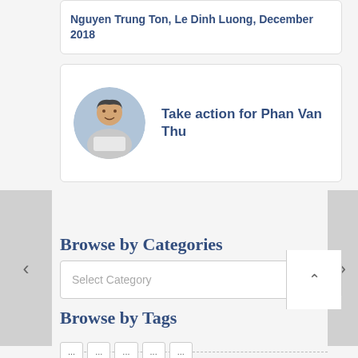Nguyen Trung Ton, Le Dinh Luong, December 2018
Take action for Phan Van Thu
Browse by Categories
Select Category
Browse by Tags